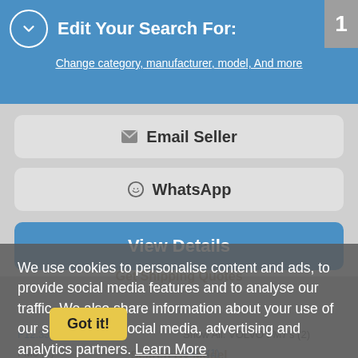Edit Your Search For:
Change category, manufacturer, model, And more
Email Seller
WhatsApp
View Details
Get Shipping Quotes
We use cookies to personalise content and ads, to provide social media features and to analyse our traffic. We also share information about your use of our site with our social media, advertising and analytics partners. Learn More
Search By Model
F12.330 (1)
FM6 (1)
Show All: VOLVO FE's (48)
FE220 (3)
FE240 (1)
Show All: VOLVO FM7's (2)
FM7 (1)
FM7.290 (1)
Show All: VOLVO FM9's (25)